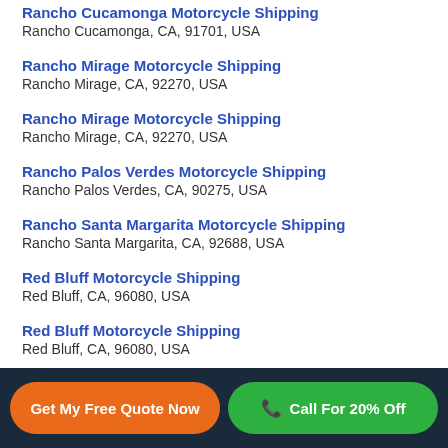Rancho Cucamonga Motorcycle Shipping
Rancho Cucamonga, CA, 91701, USA
Rancho Mirage Motorcycle Shipping
Rancho Mirage, CA, 92270, USA
Rancho Mirage Motorcycle Shipping
Rancho Mirage, CA, 92270, USA
Rancho Palos Verdes Motorcycle Shipping
Rancho Palos Verdes, CA, 90275, USA
Rancho Santa Margarita Motorcycle Shipping
Rancho Santa Margarita, CA, 92688, USA
Red Bluff Motorcycle Shipping
Red Bluff, CA, 96080, USA
Red Bluff Motorcycle Shipping
Red Bluff, CA, 96080, USA
Get My Free Quote Now | Call For 20% Off